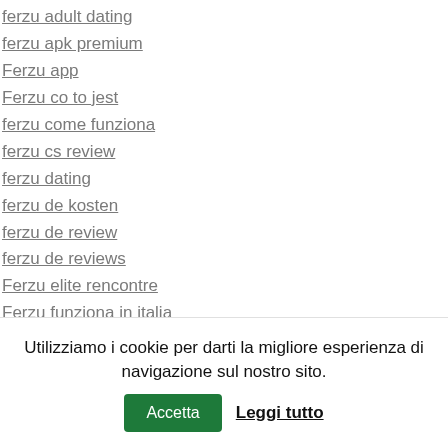ferzu adult dating
ferzu apk premium
Ferzu app
Ferzu co to jest
ferzu come funziona
ferzu cs review
ferzu dating
ferzu de kosten
ferzu de review
ferzu de reviews
Ferzu elite rencontre
Ferzu funziona in italia
ferzu incontri
ferzu login
Ferzu nederland
Utilizziamo i cookie per darti la migliore esperienza di navigazione sul nostro sito.
Accetta
Leggi tutto